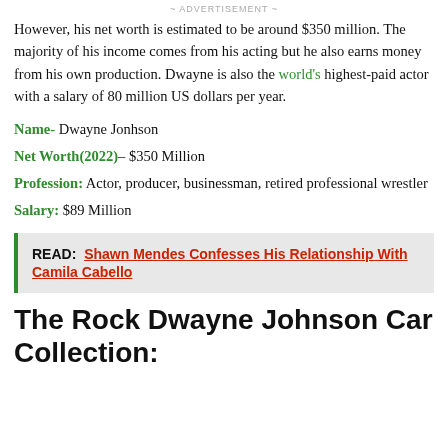ADVERTISEMENT
However, his net worth is estimated to be around $350 million. The majority of his income comes from his acting but he also earns money from his own production. Dwayne is also the world's highest-paid actor with a salary of 80 million US dollars per year.
Name- Dwayne Jonhson
Net Worth(2022)– $350 Million
Profession: Actor, producer, businessman, retired professional wrestler
Salary: $89 Million
READ: Shawn Mendes Confesses His Relationship With Camila Cabello
The Rock Dwayne Johnson Car Collection: